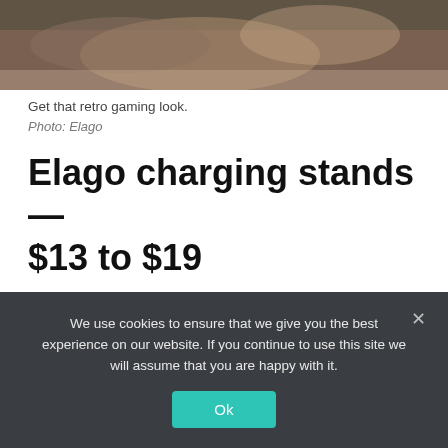[Figure (photo): Close-up photo of hands, partially visible at the top of the page, with blurred background in warm brown tones.]
Get that retro gaming look.
Photo: Elago
Elago charging stands — $13 to $19
Elago’s spectacular Apple Watch charging stands are my favorite products on this list. And if you’re a fan of anything Apple, I know you’ll love them, too.
We use cookies to ensure that we give you the best experience on our website. If you continue to use this site we will assume that you are happy with it.